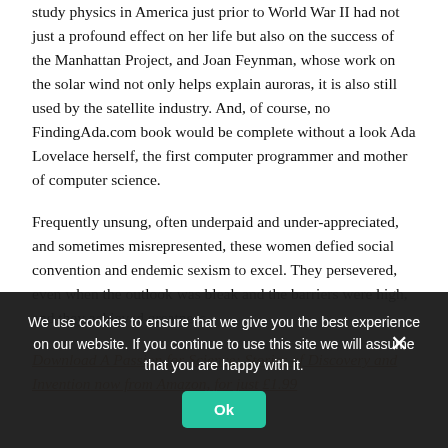behave. We also hear about Chien-Shiung Wu whose decision to study physics in America just prior to World War II had not just a profound effect on her life but also on the success of the Manhattan Project, and Joan Feynman, whose work on the solar wind not only helps explain auroras, it is also still used by the satellite industry. And, of course, no FindingAda.com book would be complete without a look Ada Lovelace herself, the first computer programmer and mother of computer science.
Frequently unsung, often underpaid and under-appreciated, and sometimes misrepresented, these women defied social convention and endemic sexism to excel. They persevered, even when the outlook was bleak and the barriers were high, and they achieved greatness.
Download A Passion for Science: Stories of Discovery and Invention now from Amazon, for just £1.99
We use cookies to ensure that we give you the best experience on our website. If you continue to use this site we will assume that you are happy with it.